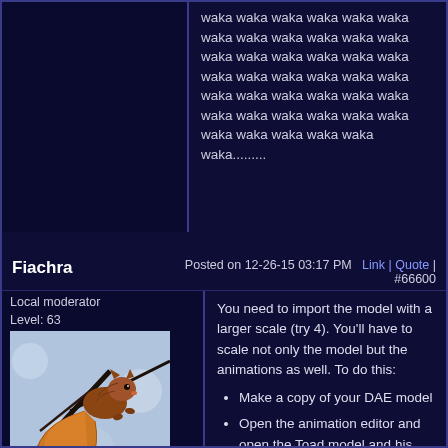waka waka waka waka waka waka waka waka waka waka waka waka waka waka waka waka waka waka waka waka waka waka waka waka waka waka waka waka waka waka waka waka waka waka waka waka waka waka waka waka waka waka.........
Fiachra
Posted on 12-26-15 03:17 PM  Link | Quote | #66600
Local moderator
Level: 63
[Figure (photo): Photo of a red squirrel on a branch]
Posts: 884/1065
EXP: 2069598
Next: 27554

Since: 12-15-12
From: Ireland

Last post: 1557 days ago
Last view: 1535 days ago
You need to import the model with a larger scale (try 4). You'll have to scale not only the model but the animations as well. To do this:
Make a copy of your DAE model
Open the animation editor and open the Toad model and his first animation.
Export to DAE
Open the exported model in a text editor and copy the <library_animations> element into your copied Pianta model.
Import the copy into the animation editor with a scale of ~4.
Repeat all above steps for